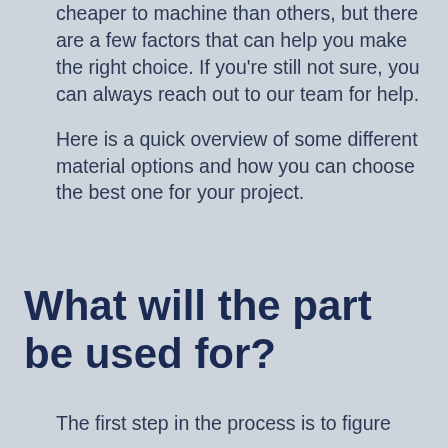cheaper to machine than others, but there are a few factors that can help you make the right choice. If you're still not sure, you can always reach out to our team for help.

Here is a quick overview of some different material options and how you can choose the best one for your project.
What will the part be used for?
The first step in the process is to figure out what the machined part will be used for.